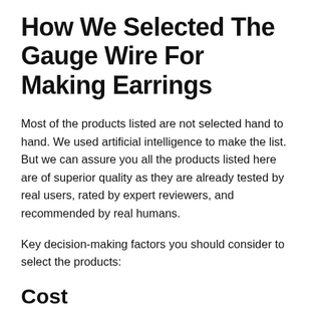How We Selected The Gauge Wire For Making Earrings
Most of the products listed are not selected hand to hand. We used artificial intelligence to make the list. But we can assure you all the products listed here are of superior quality as they are already tested by real users, rated by expert reviewers, and recommended by real humans.
Key decision-making factors you should consider to select the products:
Cost